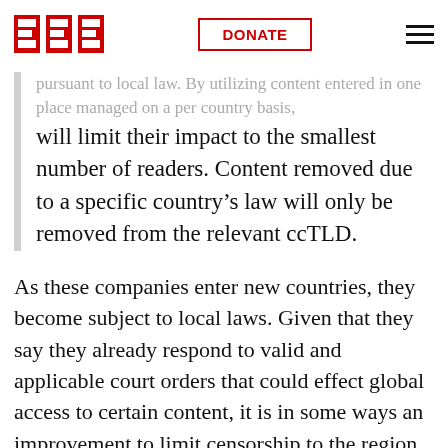EFF | DONATE
pursuant to local law. By utilizing content entered in one place managed on a per country basis, which will limit their impact to the smallest number of readers. Content removed due to a specific country's law will only be removed from the relevant ccTLD.
As these companies enter new countries, they become subject to local laws. Given that they say they already respond to valid and applicable court orders that could effect global access to certain content, it is in some ways an improvement to limit censorship to the region in which it applies. Google's policy changes are similar to Twitter's, which we reacted to last week:
For now, the overall effect is less